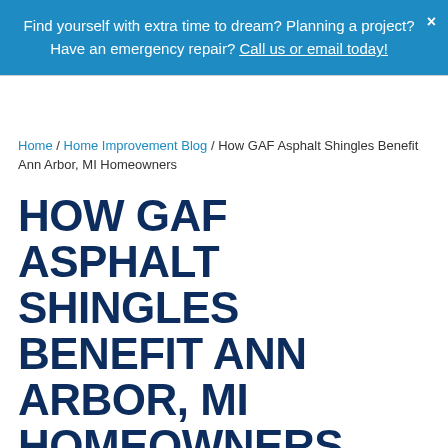Find yourself with extra time to dream? Planning a project? Have an emergency repair? Call us or email today!
Home / Home Improvement Blog / How GAF Asphalt Shingles Benefit Ann Arbor, MI Homeowners
HOW GAF ASPHALT SHINGLES BENEFIT ANN ARBOR, MI HOMEOWNERS